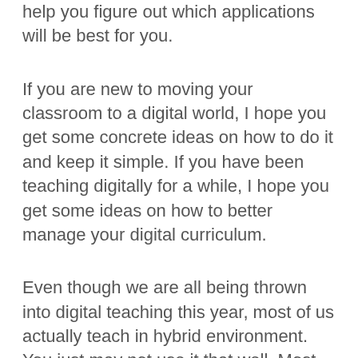help you figure out which applications will be best for you.
If you are new to moving your classroom to a digital world, I hope you get some concrete ideas on how to do it and keep it simple. If you have been teaching digitally for a while, I hope you get some ideas on how to better manage your digital curriculum.
Even though we are all being thrown into digital teaching this year, most of us actually teach in hybrid environment. You just may not use it that well. Most teachers have a computer with a projector in your room. Many students have access to Chromebooks in the classroom, not to mention smart phones. The technology is all around, how much and how well you use it is up